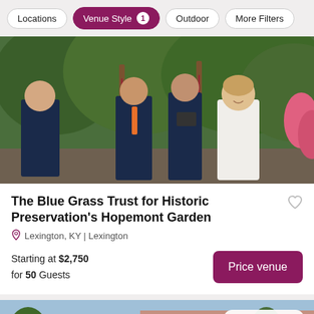Locations | Venue Style 1 | Outdoor | More Filters
[Figure (photo): Outdoor wedding ceremony in a garden setting. A couple holds hands before an officiant, with lush green foliage in the background. A groomsman stands to the left.]
The Blue Grass Trust for Historic Preservation's Hopemont Garden
Lexington, KY | Lexington
Starting at $2,750 for 50 Guests
Price venue
[Figure (photo): Exterior photo of a modern building with a distinctive circular domed structure in the foreground. Award Winner badge visible in top right.]